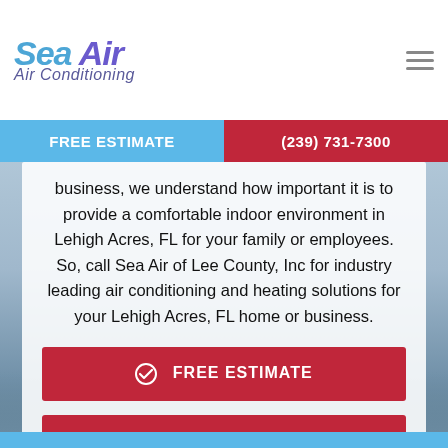[Figure (logo): Sea Air Air Conditioning logo with stylized text in blue and purple]
FREE ESTIMATE | (239) 731-7300
business, we understand how important it is to provide a comfortable indoor environment in Lehigh Acres, FL for your family or employees. So, call Sea Air of Lee County, Inc for industry leading air conditioning and heating solutions for your Lehigh Acres, FL home or business.
✓ FREE ESTIMATE
☎ (239) 731-7300